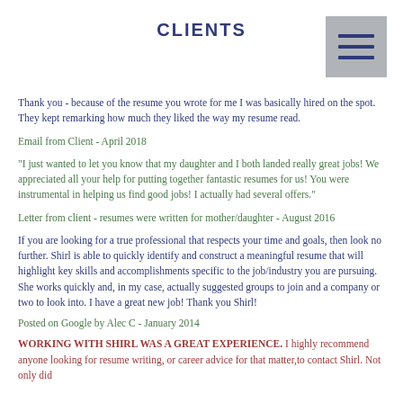CLIENTS
Thank you - because of the resume you wrote for me I was basically hired on the spot. They kept remarking how much they liked the way my resume read.
Email from Client - April 2018
"I just wanted to let you know that my daughter and I both landed really great jobs! We appreciated all your help for putting together fantastic resumes for us! You were instrumental in helping us find good jobs! I actually had several offers."
Letter from client - resumes were written for mother/daughter - August 2016
If you are looking for a true professional that respects your time and goals, then look no further. Shirl is able to quickly identify and construct a meaningful resume that will highlight key skills and accomplishments specific to the job/industry you are pursuing. She works quickly and, in my case, actually suggested groups to join and a company or two to look into. I have a great new job! Thank you Shirl!
Posted on Google by Alec C - January 2014
WORKING WITH SHIRL WAS A GREAT EXPERIENCE. I highly recommend anyone looking for resume writing, or career advice for that matter,to contact Shirl. Not only did